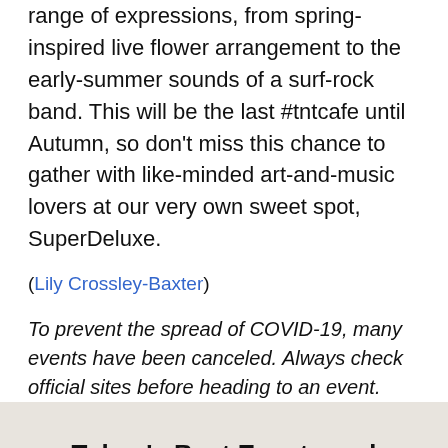range of expressions, from spring-inspired live flower arrangement to the early-summer sounds of a surf-rock band. This will be the last #tntcafe until Autumn, so don't miss this chance to gather with like-minded art-and-music lovers at our very own sweet spot, SuperDeluxe.
(Lily Crossley-Baxter)
To prevent the spread of COVID-19, many events have been canceled. Always check official sites before heading to an event.
Tokyo's Best Events and Cultural Activities in Your Inbox Every Week